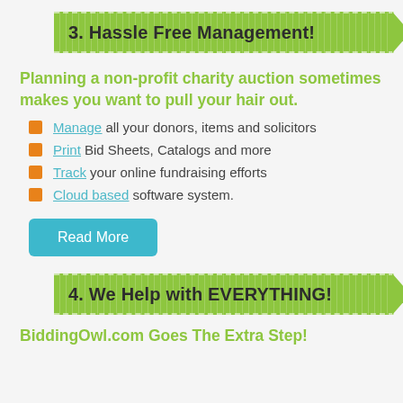3. Hassle Free Management!
Planning a non-profit charity auction sometimes makes you want to pull your hair out.
Manage all your donors, items and solicitors
Print Bid Sheets, Catalogs and more
Track your online fundraising efforts
Cloud based software system.
Read More
4. We Help with EVERYTHING!
BiddingOwl.com Goes The Extra Step!